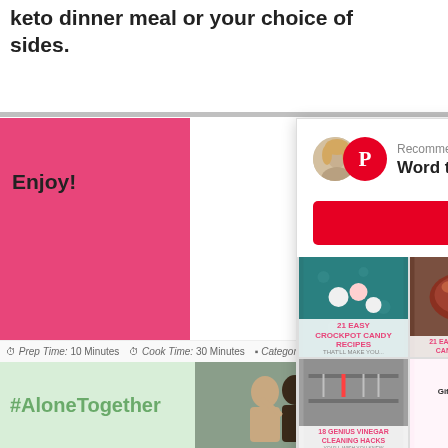keto dinner meal or your choice of sides.
Enjoy!
[Figure (screenshot): Pinterest popup overlay recommending 'Word to Your Mother Blog' with Follow on Pinterest button and grid of pins including crockpot candy recipes, keto candy, vinegar cleaning hacks, gifts for teen girls, and keto pumpkin recipes. Powered by MiloTree footer with X CLOSE button.]
⏱ Prep Time: 10 Minutes  ⏱ Cook Time: 30 Minutes  ▪ Category: dinner
[Figure (screenshot): #AloneTogether advertisement banner with image of couple and WW logo]
X